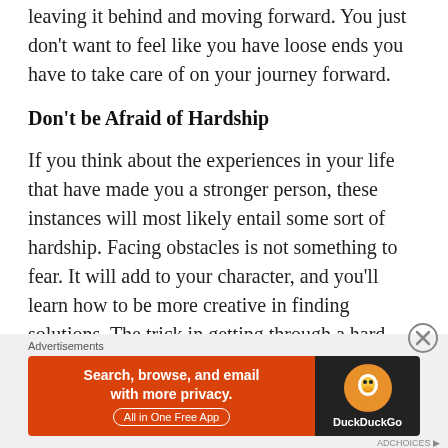leaving it behind and moving forward.  You just don't want to feel like you have loose ends you have to take care of on your journey forward.
Don't be Afraid of Hardship
If you think about the experiences in your life that have made you a stronger person, these instances will most likely entail some sort of hardship.  Facing obstacles is not something to fear.  It will add to your character, and you'll learn how to be more creative in finding solutions.  The trick in getting through a hard spot is not crumbling in its midst.  Always keep the bigger picture in mind, and never maintain a short
[Figure (other): DuckDuckGo advertisement banner with orange left panel reading 'Search, browse, and email with more privacy. All in One Free App' and dark right panel with DuckDuckGo logo and name.]